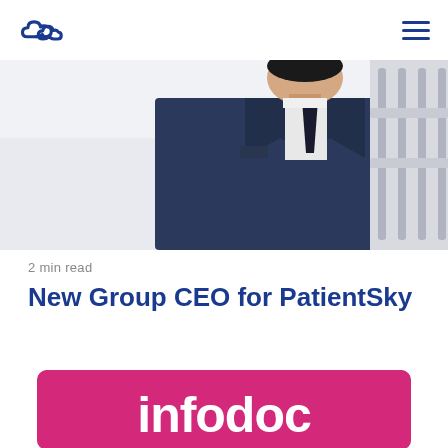PatientSky logo and navigation
[Figure (photo): Man in dark navy suit with a tie, upper torso, white fence/railing visible in background to the right]
2 min read
New Group CEO for PatientSky
[Figure (logo): Pink/magenta rounded rectangle card with white bold text 'infodoc' partially visible]